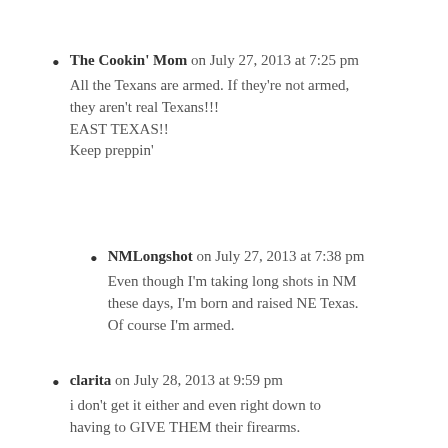The Cookin' Mom on July 27, 2013 at 7:25 pm
All the Texans are armed. If they're not armed, they aren't real Texans!!!
EAST TEXAS!!
Keep preppin'
NMLongshot on July 27, 2013 at 7:38 pm
Even though I'm taking long shots in NM these days, I'm born and raised NE Texas. Of course I'm armed.
clarita on July 28, 2013 at 9:59 pm
i don't get it either and even right down to having to GIVE THEM their firearms.